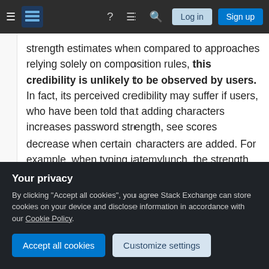Stack Exchange navigation bar with hamburger menu, logo, help, chat, search icons, Log in and Sign up buttons
strength estimates when compared to approaches relying solely on composition rules, this credibility is unlikely to be observed by users. In fact, its perceived credibility may suffer if users, who have been told that adding characters increases password strength, see scores decrease when certain characters are added. For example, when typing iatemylunch, the strength estimate decreases from the second-best score (3) to the worst score (1)
Your privacy
By clicking "Accept all cookies", you agree Stack Exchange can store cookies on your device and disclose information in accordance with our Cookie Policy.
Accept all cookies  Customize settings